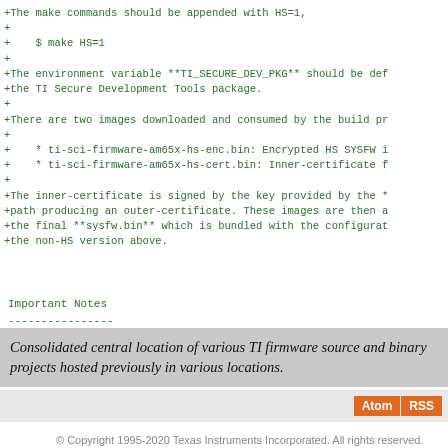+The make commands should be appended with HS=1,
+
+    $ make HS=1
+
+The environment variable **TI_SECURE_DEV_PKG** should be def
+the TI Secure Development Tools package.
+
+There are two images downloaded and consumed by the build pr
+
+    * ti-sci-firmware-am65x-hs-enc.bin: Encrypted HS SYSFW i
+    * ti-sci-firmware-am65x-hs-cert.bin: Inner-certificate f
+
+The inner-certificate is signed by the key provided by the *
+path producing an outer-certificate. These images are then a
+the final **sysfw.bin** which is bundled with the configurat
+the non-HS version above.
Important Notes
----------------
Consolidated central location of various TI firmware source and binary projects hosted previously in various locations.
© Copyright 1995-2020 Texas Instruments Incorporated. All rights reserved. Trademarks | Privacy policy | Terms of use | Terms of sale